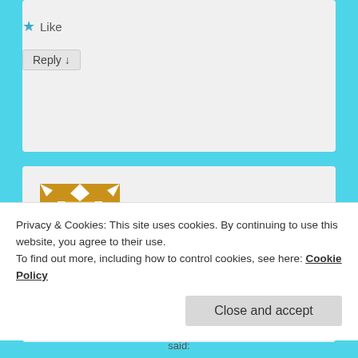Like
Reply ↓
[Figure (illustration): Gold and white geometric quilt-pattern avatar icon for user Eva Church]
Eva Church on December 24, 2016 at 6:32 pm said:
To find more information on my fifth maternal grandma. My brick wall..
Privacy & Cookies: This site uses cookies. By continuing to use this website, you agree to their use.
To find out more, including how to control cookies, see here: Cookie Policy
Close and accept
said: